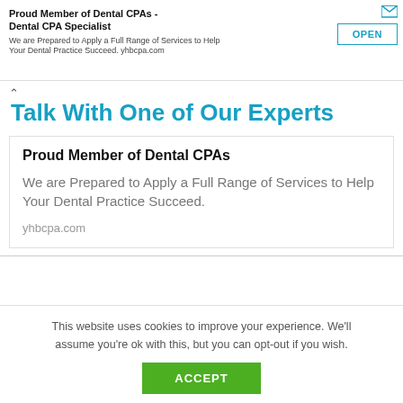Proud Member of Dental CPAs - Dental CPA Specialist
We are Prepared to Apply a Full Range of Services to Help Your Dental Practice Succeed. yhbcpa.com
Talk With One of Our Experts
Proud Member of Dental CPAs
We are Prepared to Apply a Full Range of Services to Help Your Dental Practice Succeed.
yhbcpa.com
This website uses cookies to improve your experience. We'll assume you're ok with this, but you can opt-out if you wish.